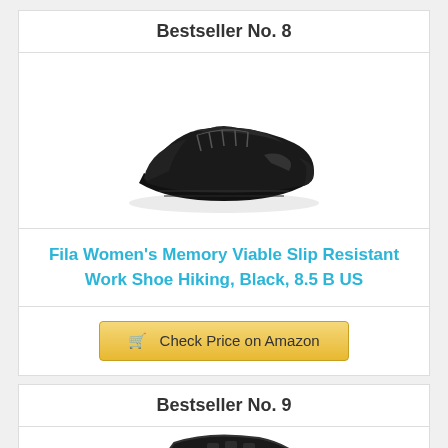Bestseller No. 8
[Figure (photo): Black Fila low-top sneaker/work shoe on white background]
Fila Women's Memory Viable Slip Resistant Work Shoe Hiking, Black, 8.5 B US
Check Price on Amazon
Bestseller No. 9
[Figure (photo): Black hiking shoe/boot shown from above on white background, partially visible]